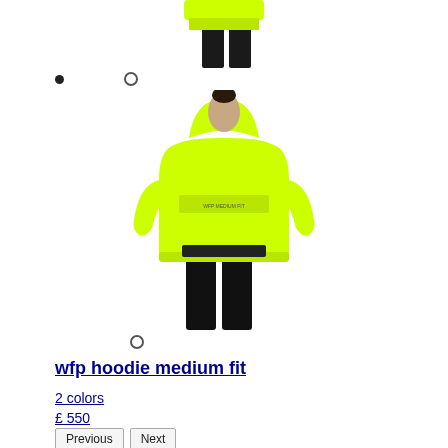[Figure (photo): Partial view of a model wearing a neon green hoodie with black pants, shown from behind, cropped at top of page]
[Figure (photo): Model wearing a neon yellow-green hoodie (wfp hoodie medium fit) with black pants, viewed from behind, full upper body visible]
wfp hoodie medium fit
2 colors
£ 550
Previous
Next
XS - wfp hoodie medium fit
S - wfp hoodie medium fit